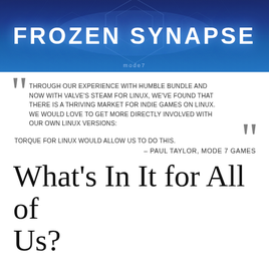[Figure (illustration): Frozen Synapse game banner with blue geometric hexagon pattern background and glowing white title text 'FROZEN SYNAPSE' with mode7 logo below]
Through our experience with Humble Bundle and now with Valve's Steam for Linux, we've found that there is a thriving market for indie games on Linux. We would love to get more directly involved with our own Linux versions: Torque for Linux would allow us to do this. – Paul Taylor, Mode 7 Games
What's In It for All of Us?
We want a dedicated Linux-native game development platform. We don't think that Linux game developers should have to switch between